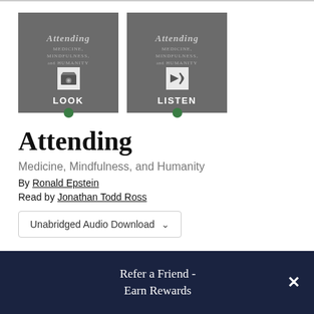[Figure (screenshot): Two book cover thumbnails side by side labeled LOOK and LISTEN for the audiobook Attending: Medicine, Mindfulness, and Humanity]
Attending
Medicine, Mindfulness, and Humanity
By Ronald Epstein
Read by Jonathan Todd Ross
Unabridged Audio Download
Refer a Friend - Earn Rewards